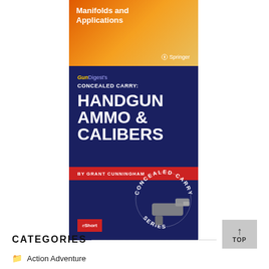[Figure (illustration): Book cover: 'Manifolds and Applications' published by Springer, orange gradient background with white title text and Springer logo]
[Figure (illustration): Book cover: GunDigest's Concealed Carry: Handgun Ammo & Calibers by Grant Cunningham. Dark navy blue background with white bold text, red byline bar, Concealed Carry Series badge with handgun image, eShort label in red. Part of Concealed Carry Series.]
CATEGORIES
Action Adventure